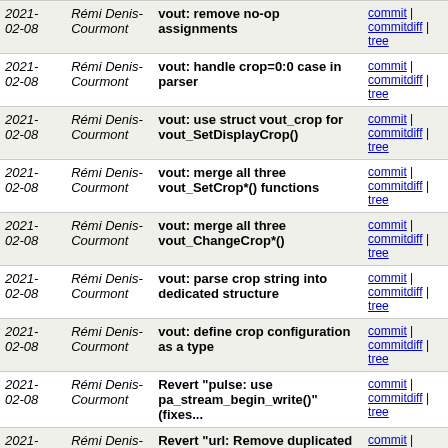| Date | Author | Commit message | Links |
| --- | --- | --- | --- |
| 2021-02-08 | Rémi Denis-Courmont | vout: remove no-op assignments | commit | commitdiff | tree |
| 2021-02-08 | Rémi Denis-Courmont | vout: handle crop=0:0 case in parser | commit | commitdiff | tree |
| 2021-02-08 | Rémi Denis-Courmont | vout: use struct vout_crop for vout_SetDisplayCrop() | commit | commitdiff | tree |
| 2021-02-08 | Rémi Denis-Courmont | vout: merge all three vout_SetCrop*() functions | commit | commitdiff | tree |
| 2021-02-08 | Rémi Denis-Courmont | vout: merge all three vout_ChangeCrop*() | commit | commitdiff | tree |
| 2021-02-08 | Rémi Denis-Courmont | vout: parse crop string into dedicated structure | commit | commitdiff | tree |
| 2021-02-08 | Rémi Denis-Courmont | vout: define crop configuration as a type | commit | commitdiff | tree |
| 2021-02-08 | Rémi Denis-Courmont | Revert "pulse: use pa_stream_begin_write()" (fixes... | commit | commitdiff | tree |
| 2021-02-07 | Rémi Denis-Courmont | Revert "url: Remove duplicated path separators" (fixes... | commit | commitdiff | tree |
| 2021- | Rémi | resource: inline RequestSout() | commit | |